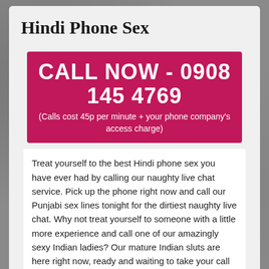Hindi Phone Sex
CALL NOW - 0908 145 4769
(Calls cost 45p per minute + your phone company's access charge)
Treat yourself to the best Hindi phone sex you have ever had by calling our naughty live chat service. Pick up the phone right now and call our Punjabi sex lines tonight for the dirtiest naughty live chat. Why not treat yourself to someone with a little more experience and call one of our amazingly sexy Indian ladies? Our mature Indian sluts are here right now, ready and waiting to take your call so they can share